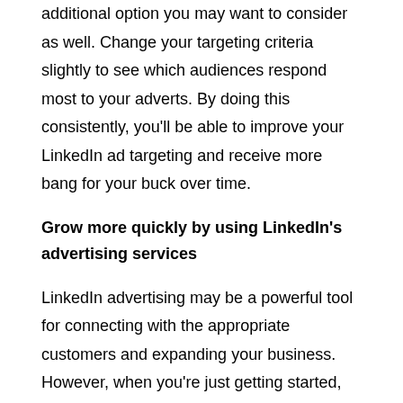additional option you may want to consider as well. Change your targeting criteria slightly to see which audiences respond most to your adverts. By doing this consistently, you'll be able to improve your LinkedIn ad targeting and receive more bang for your buck over time.
Grow more quickly by using LinkedIn's advertising services
LinkedIn advertising may be a powerful tool for connecting with the appropriate customers and expanding your business. However, when you're just getting started, it's easy to become overwhelmed.
The strategies outlined above can help you develop a successful LinkedIn advertising campaign and create quality leads.